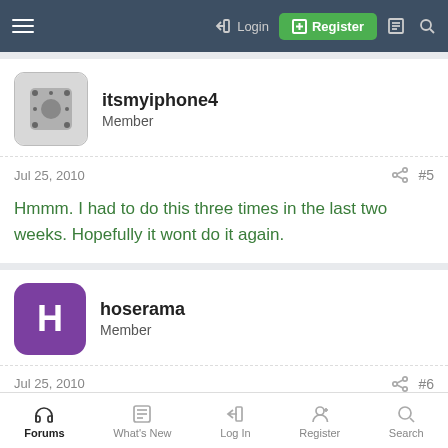Login | Register
itsmyiphone4
Member
Jul 25, 2010  #5
Hmmm. I had to do this three times in the last two weeks. Hopefully it wont do it again.
hoserama
Member
Jul 25, 2010  #6
I have had thus issue more often on previously owned
Forums | What's New | Log In | Register | Search